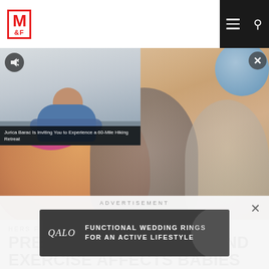M&F logo, hamburger menu, search icon
[Figure (photo): Video thumbnail overlay showing a man with arms crossed against a whiteboard background, with caption: Jurica Barac Is Inviting You to Experience a 60-Mile Hiking Retreat]
[Figure (photo): Hero image of pregnant women exercising in a fitness class, with blue exercise ball in background]
HERS FEATURES
PREGNANCY NUTRITION AND EXERCISE AFFECTS BABIES
ADVERTISEMENT
[Figure (other): Advertisement banner for QALO: Functional Wedding Rings for an Active Lifestyle on dark background]